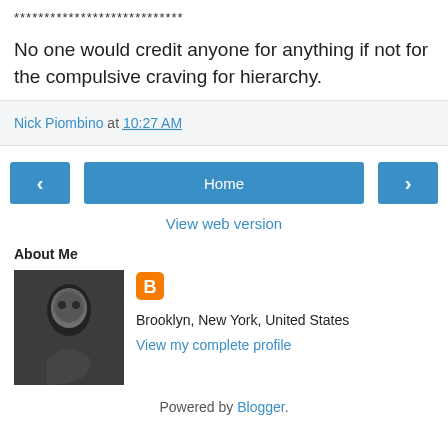****************************
No one would credit anyone for anything if not for the compulsive craving for hierarchy.
Nick Piombino at 10:27 AM
[Figure (screenshot): Navigation buttons: left arrow, Home, right arrow]
View web version
About Me
[Figure (photo): Black and white portrait photo of a man]
Brooklyn, New York, United States
View my complete profile
Powered by Blogger.